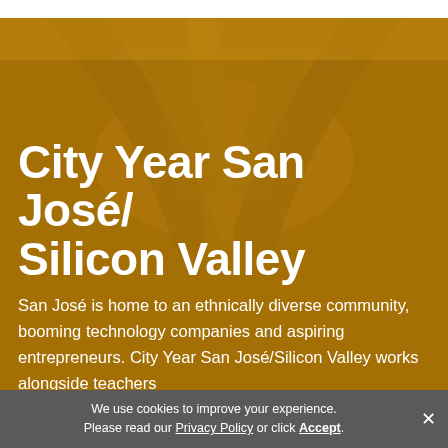[Figure (photo): Golden/amber tinted photo of people putting their hands together in a team gesture, viewed from below looking up]
City Year San José/Silicon Valley
San José is home to an ethnically diverse community, booming technology companies and aspiring entrepreneurs. City Year San José/Silicon Valley works alongside teachers
We use cookies to improve your experience. Please read our Privacy Policy or click Accept.